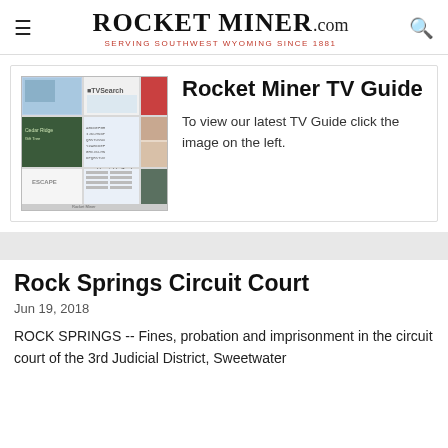Rocket Miner.com — Serving Southwest Wyoming Since 1881
Rocket Miner TV Guide
To view our latest TV Guide click the image on the left.
Rock Springs Circuit Court
Jun 19, 2018
ROCK SPRINGS -- Fines, probation and imprisonment in the circuit court of the 3rd Judicial District, Sweetwater